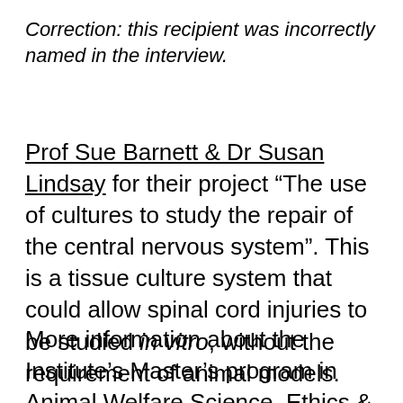Correction: this recipient was incorrectly named in the interview.
Prof Sue Barnett & Dr Susan Lindsay for their project “The use of cultures to study the repair of the central nervous system”. This is a tissue culture system that could allow spinal cord injuries to be studied in vitro, without the requirement of animal models.
More information about the Institute’s Master’s program in Animal Welfare Science, Ethics & Law can be found in